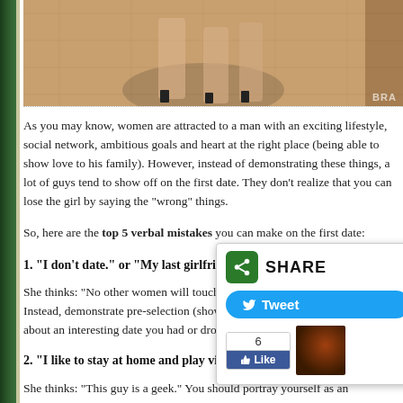[Figure (photo): Cropped photo showing legs/feet in high heels on a wooden floor, with a watermark 'BRA' visible in bottom right corner]
As you may know, women are attracted to a man with an exciting lifestyle, social network, ambitious goals and heart at the right place (being able to show love to his family). However, instead of demonstrating these things, a lot of guys tend to show off on the first date. They don't realize that you can lose the girl by saying the "wrong" things.
So, here are the top 5 verbal mistakes you can make on the first date:
1. “I don’t date.” or “My last girlfriend was forever ago.”
She thinks: “No other women will touch this guy and for good reason.” Instead, demonstrate pre-selection (show her other women want you). Talk about an interesting date you had or drop names of female friends.
2. “I like to stay at home and play video games.”
She thinks: “This guy is a geek.” You should portray yourself as an adventurous risk-taker. Talk about where you've been: sky diving, hang gliding, bungee